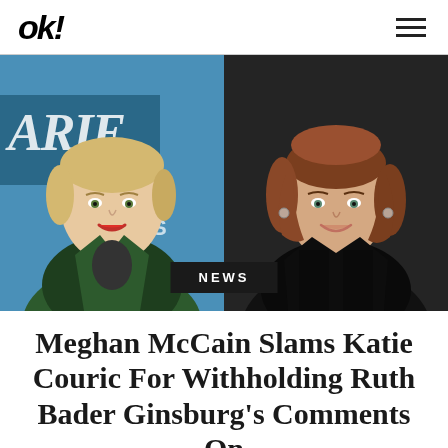OK!
[Figure (photo): Side-by-side photos of Meghan McCain (left, blonde woman in green velvet jacket at a Variety event) and Katie Couric (right, brunette woman in black jacket smiling), with a dark 'NEWS' badge overlay at bottom center.]
Meghan McCain Slams Katie Couric For Withholding Ruth Bader Ginsburg's Comments On